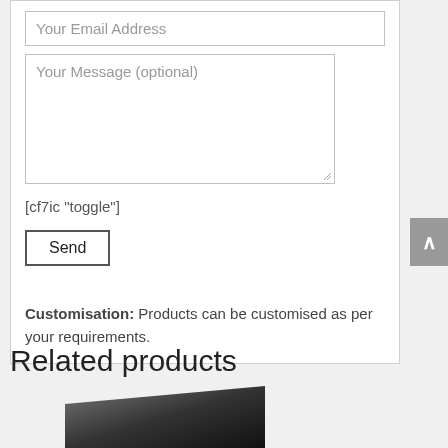Your Email Address
Your Message (optional)
[cf7ic "toggle"]
Send
Customisation: Products can be customised as per your requirements.
Related products
[Figure (photo): Product image - dark colored rectangular box/product]